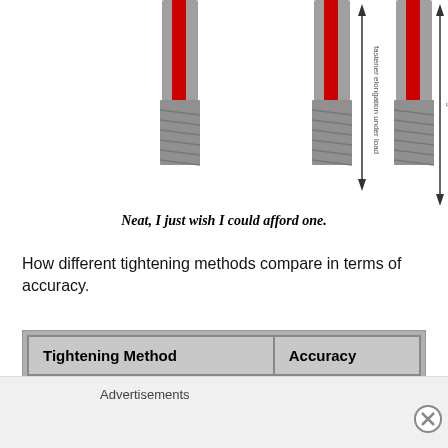[Figure (engineering-diagram): Three bolt/threaded fastener diagrams side by side, each showing a red insert with threaded gray shank, with arrows indicating elongation under load measurements on the right two diagrams.]
Neat, I just wish I could afford one.
How different tightening methods compare in terms of accuracy.
| Tightening Method | Accuracy |
| --- | --- |
| By feel | ±35% |
| Torque wrench | +25% |
Advertisements